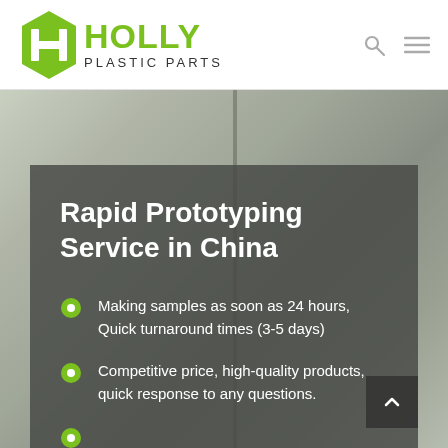[Figure (logo): Holly Plastic Parts logo with green hexagon H icon and green HOLLY text with PLASTIC PARTS subtitle]
[Figure (photo): Blurred background photo of an industrial or office environment, semi-transparent dark overlay panel in foreground]
Rapid Prototyping Service in China
Making samples as soon as 24 hours, Quick turnaround times (3-5 days)
Competitive price, high-quality products, quick response to any questions.